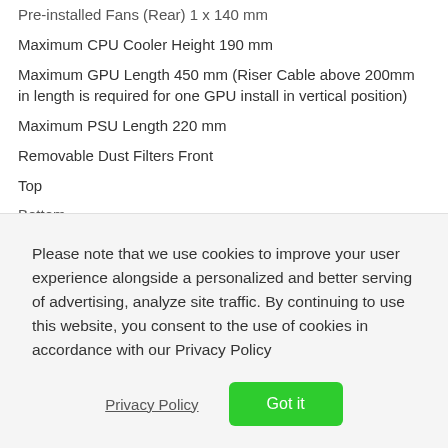Pre-installed Fans (Rear) 1 x 140 mm
Maximum CPU Cooler Height 190 mm
Maximum GPU Length 450 mm (Riser Cable above 200mm in length is required for one GPU install in vertical position)
Maximum PSU Length 220 mm
Removable Dust Filters Front
Top
Bottom
Please note that we use cookies to improve your user experience alongside a personalized and better serving of advertising, analyze site traffic. By continuing to use this website, you consent to the use of cookies in accordance with our Privacy Policy
Privacy Policy
Got it